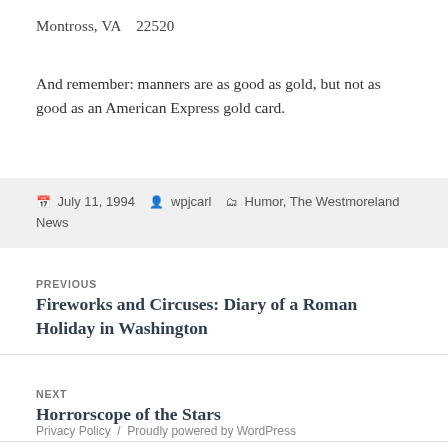Montross, VA   22520
And remember: manners are as good as gold, but not as good as an American Express gold card.
July 11, 1994  wpjcarl  Humor, The Westmoreland News
PREVIOUS
Fireworks and Circuses: Diary of a Roman Holiday in Washington
NEXT
Horrorscope of the Stars
Privacy Policy  /  Proudly powered by WordPress